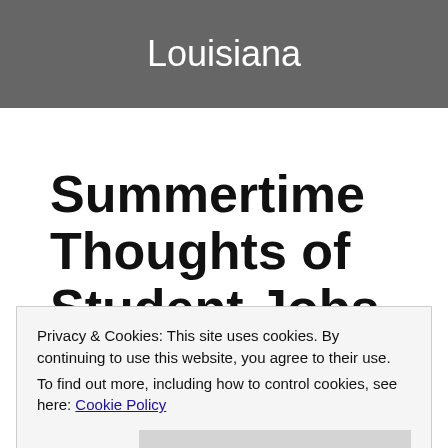Louisiana
Summertime Thoughts of Student Jobs
Privacy & Cookies: This site uses cookies. By continuing to use this website, you agree to their use.
To find out more, including how to control cookies, see here: Cookie Policy
Close and accept
college students are keeping busy with